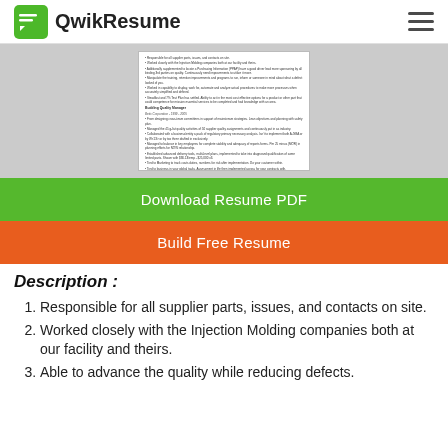QwikResume
[Figure (screenshot): Thumbnail preview of a resume document showing bullet points and an Education section with a 'Free Resume Templates' link]
Download Resume PDF
Build Free Resume
Description :
Responsible for all supplier parts, issues, and contacts on site.
Worked closely with the Injection Molding companies both at our facility and theirs.
Able to advance the quality while reducing defects.